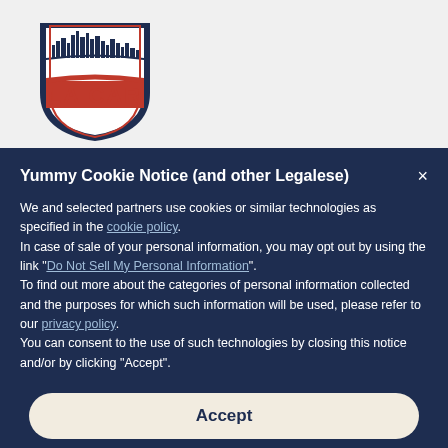[Figure (logo): LA CAR logo — shield shape with dark navy border, city skyline silhouette at top, red banner with 'LA CAR' text in bold red letters]
Yummy Cookie Notice (and other Legalese)
We and selected partners use cookies or similar technologies as specified in the cookie policy. In case of sale of your personal information, you may opt out by using the link "Do Not Sell My Personal Information". To find out more about the categories of personal information collected and the purposes for which such information will be used, please refer to our privacy policy. You can consent to the use of such technologies by closing this notice and/or by clicking "Accept".
Accept